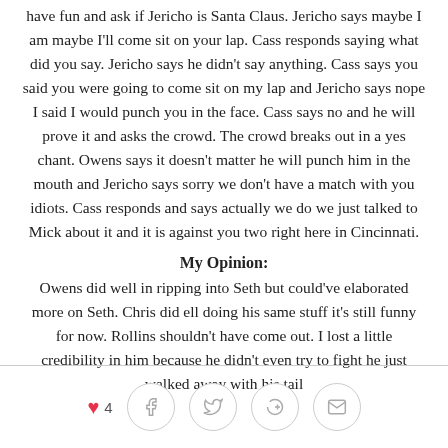have fun and ask if Jericho is Santa Claus. Jericho says maybe I am maybe I'll come sit on your lap. Cass responds saying what did you say. Jericho says he didn't say anything. Cass says you said you were going to come sit on my lap and Jericho says nope I said I would punch you in the face. Cass says no and he will prove it and asks the crowd. The crowd breaks out in a yes chant. Owens says it doesn't matter he will punch him in the mouth and Jericho says sorry we don't have a match with you idiots. Cass responds and says actually we do we just talked to Mick about it and it is against you two right here in Cincinnati.
My Opinion:
Owens did well in ripping into Seth but could've elaborated more on Seth. Chris did ell doing his same stuff it's still funny for now. Rollins shouldn't have come out. I lost a little credibility in him because he didn't even try to fight he just walked away with his tail
♥ 4  [facebook] [twitter] [google+] [email]